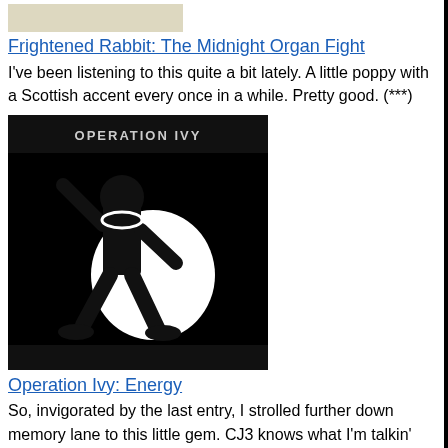[Figure (photo): Album cover thumbnail, light colored]
Frightened Rabbit: The Midnight Organ Fight
I've been listening to this quite a bit lately. A little poppy with a Scottish accent every once in a while. Pretty good. (***)
[Figure (illustration): Operation Ivy Energy album cover - black and white illustration of a figure with chains on black background]
Operation Ivy: Energy
So, invigorated by the last entry, I strolled further down memory lane to this little gem. CJ3 knows what I'm talkin' bout. As good as I remember. (*****)
[Figure (photo): B.A.D. album cover showing band members]
B.A.D.:
ed of Co d'A NF an no ed of St. Jo NF at the Ida Mo bo Cir sm an aft a rai